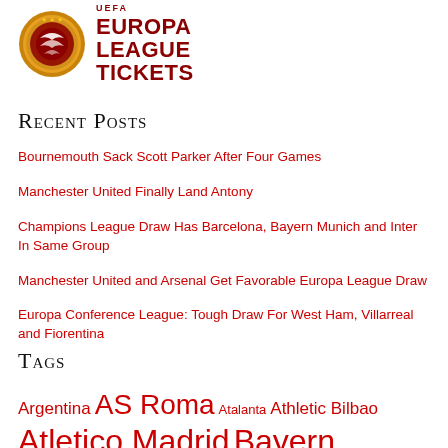[Figure (logo): UEFA Europa League Tickets logo with golden circular badge on left and red text 'UEFA EUROPA LEAGUE TICKETS' on right]
Recent Posts
Bournemouth Sack Scott Parker After Four Games
Manchester United Finally Land Antony
Champions League Draw Has Barcelona, Bayern Munich and Inter In Same Group
Manchester United and Arsenal Get Favorable Europa League Draw
Europa Conference League: Tough Draw For West Ham, Villarreal and Fiorentina
Tags
Argentina AS Roma Atalanta Athletic Bilbao Atletico Madrid Bayern Munich ...